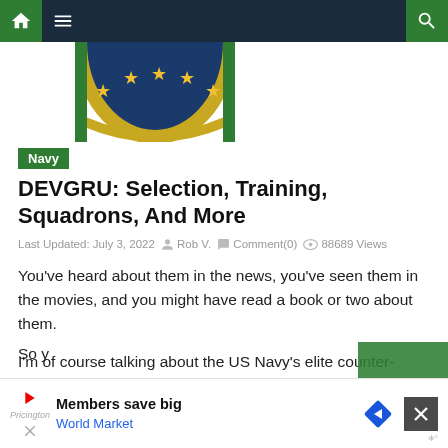Navigation bar with home, menu, and search icons
[Figure (logo): Partial military/navy circular emblem with stars on blue and gold border]
Navy
DEVGRU: Selection, Training, Squadrons, And More
Last Updated: July 3, 2022  Rob V.  Comment(0)  88689 Views
You've heard about them in the news, you've seen them in the movies, and you might have read a book or two about them.
I'm of course talking about the US Navy's elite counter-terrorist organization, commonly known as SEAL Team 6.
Otherwise known as DEVGRU…which is their official name.
So y…
[Figure (other): Advertisement banner: Members save big World Market, with play icon, diamond arrow icon, and X close button]